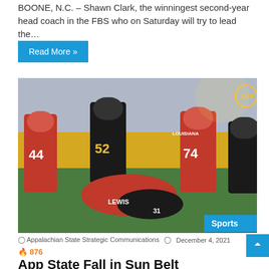BOONE, N.C. – Shawn Clark, the winningest second-year head coach in the FBS who on Saturday will try to lead the…
Read More »
[Figure (photo): Football game action shot showing Appalachian State player #52 in black and gold uniform standing over Louisiana players in red uniforms on the field. A Sports badge is visible in the bottom right corner.]
Appalachian State Strategic Communications  December 4, 2021
🔥 876
App State Fall in Sun Belt Championship